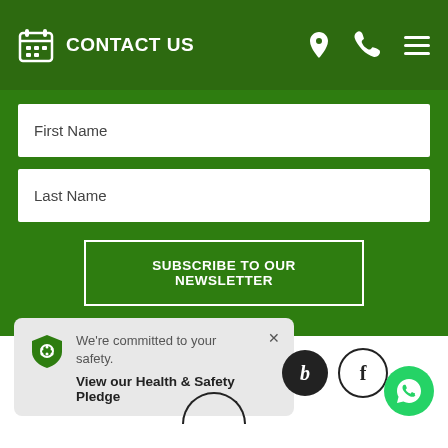CONTACT US
First Name
Last Name
SUBSCRIBE TO OUR NEWSLETTER
We're committed to your safety.
View our Health & Safety Pledge